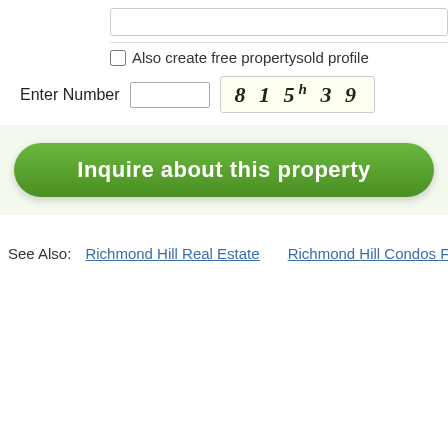[Figure (screenshot): Top portion showing a text input box (partially visible at top of page)]
Also create free propertysold profile
Enter Number  815h39
Inquire about this property
See Also: Richmond Hill Real Estate   Richmond Hill Condos For Sale   Richmond Hill…